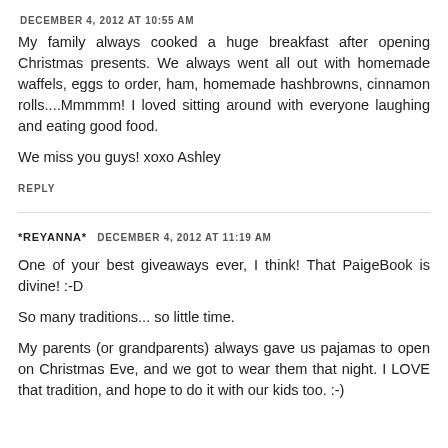DECEMBER 4, 2012 AT 10:55 AM
My family always cooked a huge breakfast after opening Christmas presents. We always went all out with homemade waffels, eggs to order, ham, homemade hashbrowns, cinnamon rolls....Mmmmm! I loved sitting around with everyone laughing and eating good food.
We miss you guys! xoxo Ashley
REPLY
*REYANNA*
DECEMBER 4, 2012 AT 11:19 AM
One of your best giveaways ever, I think! That PaigeBook is divine! :-D
So many traditions... so little time.
My parents (or grandparents) always gave us pajamas to open on Christmas Eve, and we got to wear them that night. I LOVE that tradition, and hope to do it with our kids too. :-)